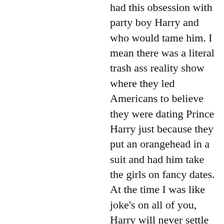had this obsession with party boy Harry and who would tame him. I mean there was a literal trash ass reality show where they led Americans to believe they were dating Prince Harry just because they put an orangehead in a suit and had him take the girls on fancy dates. At the time I was like joke's on all of you, Harry will never settle for a trailer-livin, reality show appearin, AMERICAN. Joke was on me, apparently. American is what he settled for. She's living out every girl's princess dreams and I applaud the hell out of her. Gear up for non-stop Heghan fever. (We'll work on that.) We'll